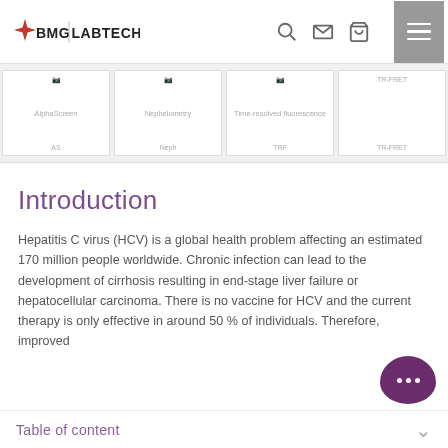BMG LABTECH
[Figure (screenshot): Navigation carousel showing four detection mode thumbnails: AlphaScreen (AS), Nephelometry (Neph), Time-resolved fluorescence (TRF), TR-FRET]
Introduction
Hepatitis C virus (HCV) is a global health problem affecting an estimated 170 million people worldwide. Chronic infection can lead to the development of cirrhosis resulting in end-stage liver failure or hepatocellular carcinoma. There is no vaccine for HCV and the current therapy is only effective in around 50 % of individuals. Therefore, improved
Table of content